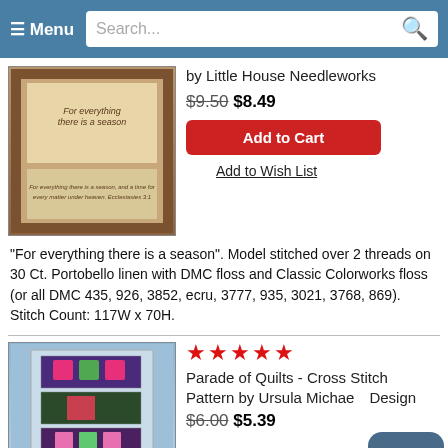≡ Menu  Search...
[Figure (photo): Cross stitch pattern product image showing 'For everything there is a season' sampler in a brown frame]
by Little House Needleworks
$9.50 $8.49
Add to Cart
Add to Wish List
"For everything there is a season". Model stitched over 2 threads on 30 Ct. Portobello linen with DMC floss and Classic Colorworks floss (or all DMC 435, 926, 3852, ecru, 3777, 935, 3021, 3768, 869). Stitch Count: 117W x 70H.
[Figure (photo): Cross stitch pattern product image showing Parade of Quilts design with colorful quilt squares on blue background]
★★★★★
Parade of Quilts - Cross Stitch Pattern by Ursula Michael Design
$6.00 $5.39